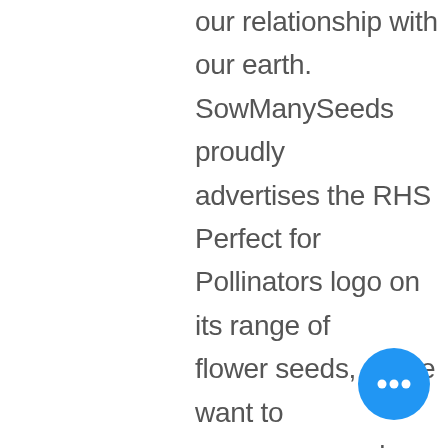our relationship with our earth. SowManySeeds proudly advertises the RHS Perfect for Pollinators logo on its range of flower seeds, as we want to encourage our bees, butterflies and other pollinators in abundance back into our gardens.  Creating outside spaces in harmony with nature gives us joy and hope.  Whether you're looking for some easy colour for your own enjoyment or an environmentally friend... gift that will last beyond the
[Figure (illustration): A blue circular chat button with three horizontal white dots (ellipsis), positioned in the bottom-right corner of the page.]